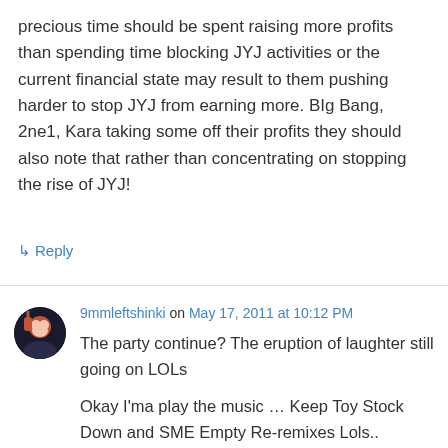precious time should be spent raising more profits than spending time blocking JYJ activities or the current financial state may result to them pushing harder to stop JYJ from earning more. BIg Bang, 2ne1, Kara taking some off their profits they should also note that rather than concentrating on stopping the rise of JYJ!
↳ Reply
9mmleftshinki on May 17, 2011 at 10:12 PM
The party continue? The eruption of laughter still going on LOLs
Okay I'ma play the music … Keep Toy Stock Down and SME Empty Re-remixes Lols..